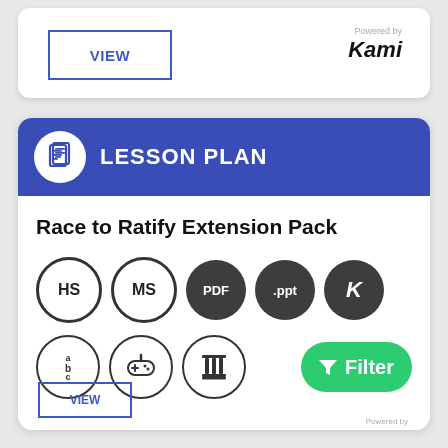[Figure (screenshot): VIEW button with blue border and Kami logo (Powered by Kami) on the right, inside a white rounded card]
[Figure (screenshot): Lesson Plan card with dark blue header showing document icon and LESSON PLAN text, followed by Race to Ratify Extension Pack title, badge icons (HS, MS, PDF, .ppt, K, abc, game controller, column/pillar), and a green Filter button]
Powered by
Kami
Race to Ratify Extension Pack
Filter
Powered by